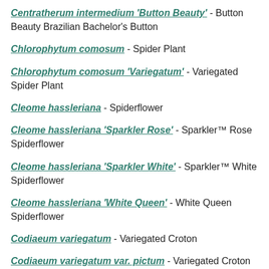Centratherum intermedium 'Button Beauty' - Button Beauty Brazilian Bachelor's Button
Chlorophytum comosum - Spider Plant
Chlorophytum comosum 'Variegatum' - Variegated Spider Plant
Cleome hassleriana - Spiderflower
Cleome hassleriana 'Sparkler Rose' - Sparkler™ Rose Spiderflower
Cleome hassleriana 'Sparkler White' - Sparkler™ White Spiderflower
Cleome hassleriana 'White Queen' - White Queen Spiderflower
Codiaeum variegatum - Variegated Croton
Codiaeum variegatum var. pictum - Variegated Croton